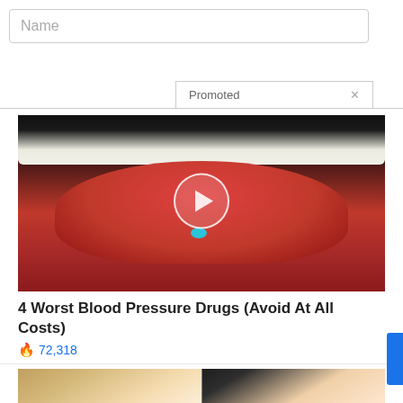Name
Promoted ×
[Figure (photo): Close-up photo of an open mouth with tongue out and a small blue pill on the tongue, with a video play button overlay]
4 Worst Blood Pressure Drugs (Avoid At All Costs)
🔥 72,318
[Figure (photo): Side-by-side photo of two women in white jackets, one with blonde hair and one with dark hair]
Protect And Secure Your IRA Or 401(k) From Our Record High Inflation
🔥 6,640